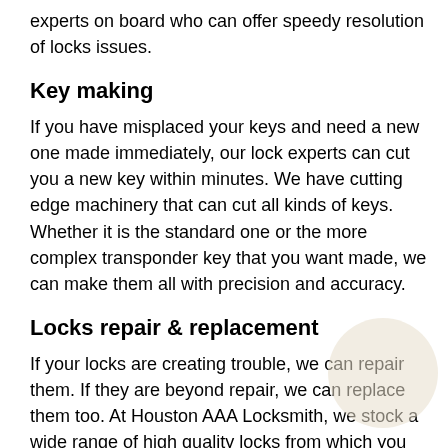experts on board who can offer speedy resolution of locks issues.
Key making
If you have misplaced your keys and need a new one made immediately, our lock experts can cut you a new key within minutes. We have cutting edge machinery that can cut all kinds of keys. Whether it is the standard one or the more complex transponder key that you want made, we can make them all with precision and accuracy.
Locks repair & replacement
If your locks are creating trouble, we can repair them. If they are beyond repair, we can replace them too. At Houston AAA Locksmith, we stock a wide range of high quality locks from which you can choose the ones that best suit your require Houston AAA Locksmith Houston, TX 281- locks for your ve 674-2225